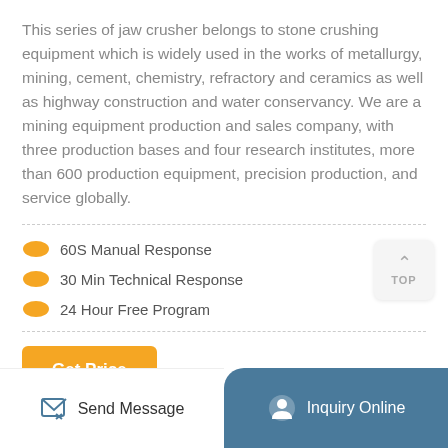This series of jaw crusher belongs to stone crushing equipment which is widely used in the works of metallurgy, mining, cement, chemistry, refractory and ceramics as well as highway construction and water conservancy. We are a mining equipment production and sales company, with three production bases and four research institutes, more than 600 production equipment, precision production, and service globally.
60S Manual Response
30 Min Technical Response
24 Hour Free Program
Get Price
Send Message
Inquiry Online